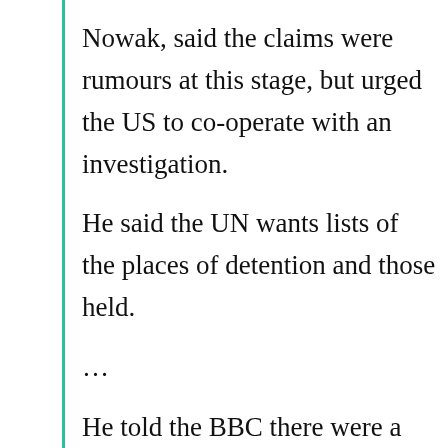Nowak, said the claims were rumours at this stage, but urged the US to co-operate with an investigation.
He said the UN wants lists of the places of detention and those held.
…
He told the BBC there were a number of allegations from reliable sources that the US was holding terrorist suspects in secret places of detention, including vessels